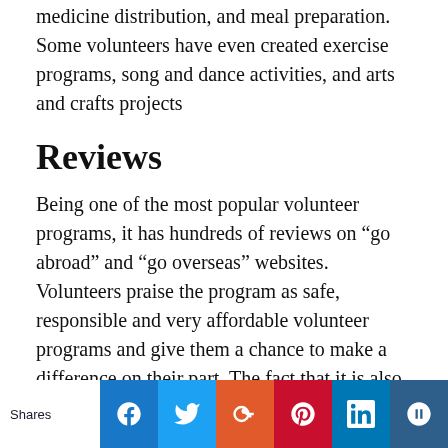medicine distribution, and meal preparation. Some volunteers have even created exercise programs, song and dance activities, and arts and crafts projects
Reviews
Being one of the most popular volunteer programs, it has hundreds of reviews on “go abroad” and “go overseas” websites. Volunteers praise the program as safe, responsible and very affordable volunteer programs and give them a chance to make a difference on their part. The fact that it is also an inexpensive volunteer in Guatemala program makes it even more enjoyable.
They say that the locals were very helpful, friendly and kind. The food was good and eating with all the